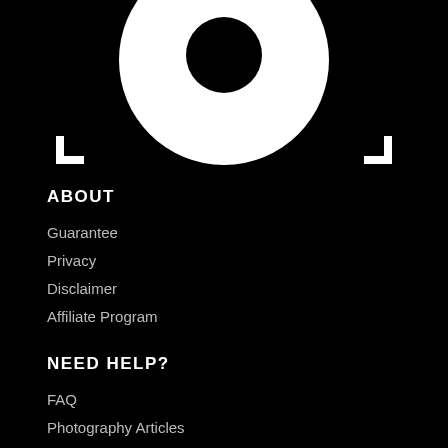[Figure (logo): Partial white circular logo with bracket/corner marks on black background, cropped at top]
ABOUT
Guarantee
Privacy
Disclaimer
Affiliate Program
NEED HELP?
FAQ
Photography Articles
Contact Us
Login